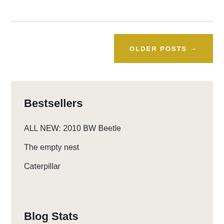OLDER POSTS →
Bestsellers
ALL NEW: 2010 BW Beetle
The empty nest
Caterpillar
Blog Stats